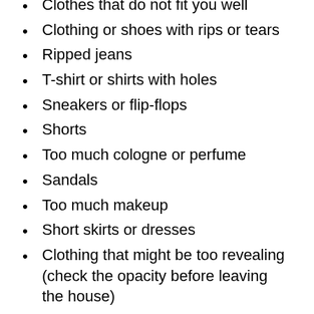Clothes that do not fit you well
Clothing or shoes with rips or tears
Ripped jeans
T-shirt or shirts with holes
Sneakers or flip-flops
Shorts
Too much cologne or perfume
Sandals
Too much makeup
Short skirts or dresses
Clothing that might be too revealing (check the opacity before leaving the house)
Your interview outfit shouldn't be distracting. Employers may interpret dress codes differently, so a good rule of thumb is to dress